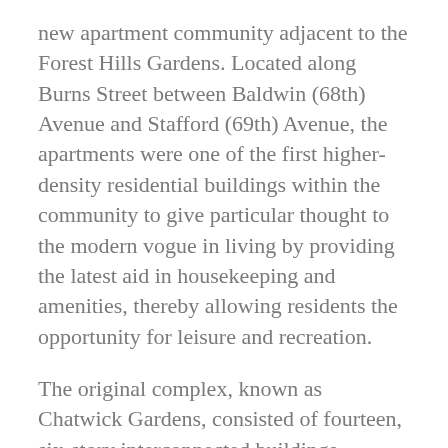new apartment community adjacent to the Forest Hills Gardens. Located along Burns Street between Baldwin (68th) Avenue and Stafford (69th) Avenue, the apartments were one of the first higher-density residential buildings within the community to give particular thought to the modern vogue in living by providing the latest aid in housekeeping and amenities, thereby allowing residents the opportunity for leisure and recreation.
The original complex, known as Chatwick Gardens, consisted of fourteen, six-story interconnected buildings designed in the Tudor and Elizabethan style and offered 381 apartments of various sizes. Bordering both the north and south sides of Burns Street, the plan of the buildings provided a series of setbacks creating lush English-style gardens at both the entrance and breezeway courts of the buildings. Its prime location, a three-minute walk from Station